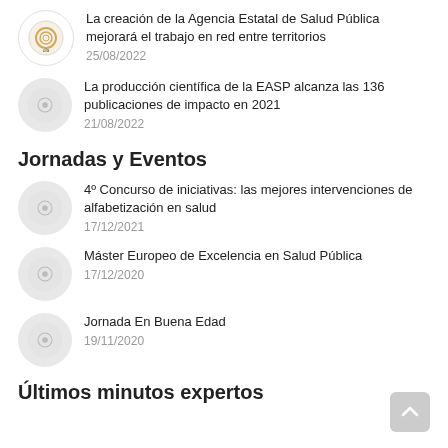La creación de la Agencia Estatal de Salud Pública mejorará el trabajo en red entre territorios · 25/08/2022
La producción científica de la EASP alcanza las 136 publicaciones de impacto en 2021 · 21/08/2022
Jornadas y Eventos
4º Concurso de iniciativas: las mejores intervenciones de alfabetización en salud · 17/12/2021
Máster Europeo de Excelencia en Salud Pública · 17/12/2020
Jornada En Buena Edad · 19/11/2020
Últimos minutos expertos